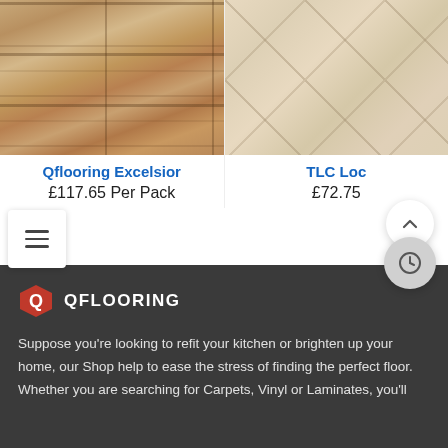[Figure (photo): Wood laminate flooring sample showing plank pattern with grain texture]
[Figure (photo): Stone/tile flooring sample showing diagonal tile pattern in cream/beige tones]
Qflooring Excelsior
TLC Loc
£117.65 Per Pack
£72.75
[Figure (logo): QFlooring logo with red Q icon and white QFLOORING text on dark background]
Suppose you're looking to refit your kitchen or brighten up your home, our Shop help to ease the stress of finding the perfect floor. Whether you are searching for Carpets, Vinyl or Laminates, you'll